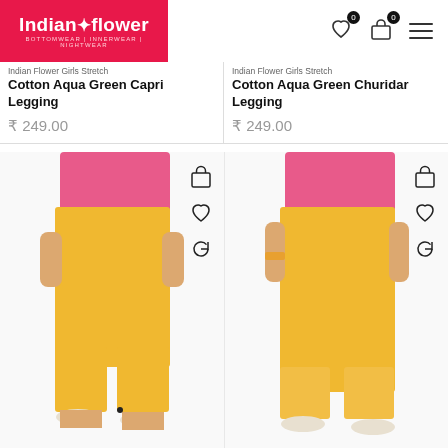[Figure (logo): Indian Flower logo on pink/red background with tagline BOTTOMWEAR | INNERWEAR | NIGHTWEAR]
[Figure (infographic): Header icons: heart wishlist (0), shopping bag cart (0), hamburger menu]
Indian Flower Girls Stretch Cotton Aqua Green Capri Legging
₹ 249.00
Indian Flower Girls Stretch Cotton Aqua Green Churidar Legging
₹ 249.00
[Figure (photo): Girl wearing yellow/mustard capri legging with pink top, white sandals, cropped view]
[Figure (photo): Girl wearing yellow/mustard full-length churidar legging with pink top, white sandals, cropped view]